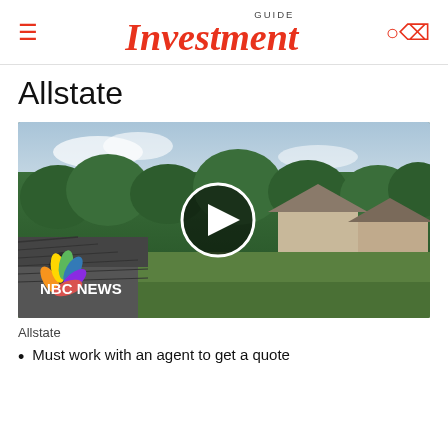GUIDE Investment
Allstate
[Figure (screenshot): Video thumbnail showing aerial view of suburban neighborhood with houses and green trees. NBC NEWS logo in lower left. Play button overlay in center.]
Allstate
Must work with an agent to get a quote